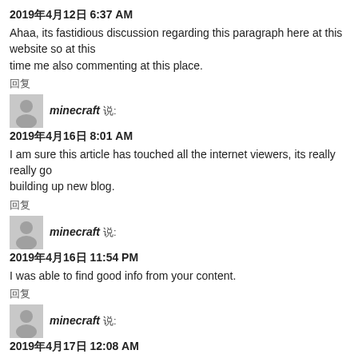2019年4月12日 6:37 AM
Ahaa, its fastidious discussion regarding this paragraph here at this website so at this time me also commenting at this place.
回复
minecraft 说:
2019年4月16日 8:01 AM
I am sure this article has touched all the internet viewers, its really really go building up new blog.
回复
minecraft 说:
2019年4月16日 11:54 PM
I was able to find good info from your content.
回复
minecraft 说:
2019年4月17日 12:08 AM
Great blog here! Additionally your web site so much up very fast!
What host are you using? Can I get your affiliate hyperlink to your host?